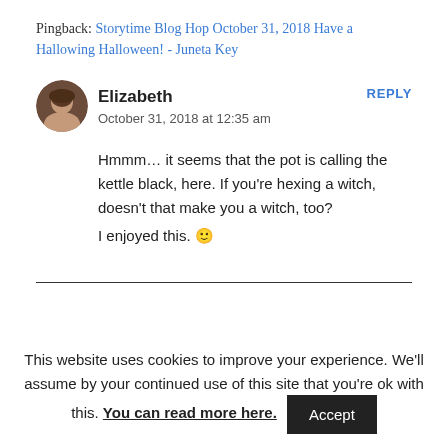Pingback: Storytime Blog Hop October 31, 2018 Have a Hallowing Halloween! - Juneta Key
Elizabeth
October 31, 2018 at 12:35 am
Hmmm… it seems that the pot is calling the kettle black, here. If you're hexing a witch, doesn't that make you a witch, too?
I enjoyed this. 🙂
This website uses cookies to improve your experience. We'll assume by your continued use of this site that you're ok with this. You can read more here. Accept